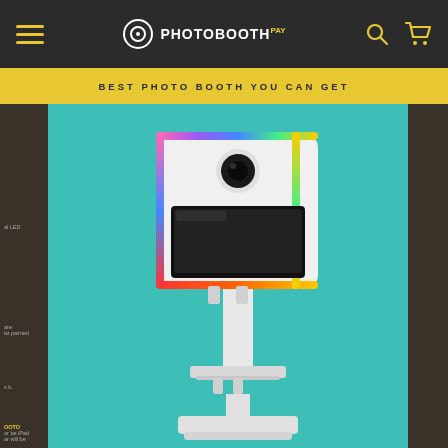PHOTOBOOTH PAY — navigation bar with hamburger menu, logo, search and cart icons
BEST PHOTO BOOTH YOU CAN GET
[Figure (photo): A white photo booth kiosk on a stand with colorful LED lighting (pink, blue, green, yellow) around the top panel containing a camera lens, and a large touchscreen display in the middle. The booth stands on a white pedestal with a base plate. Background is teal/turquoise. Partially visible left panel shows product feature text.]